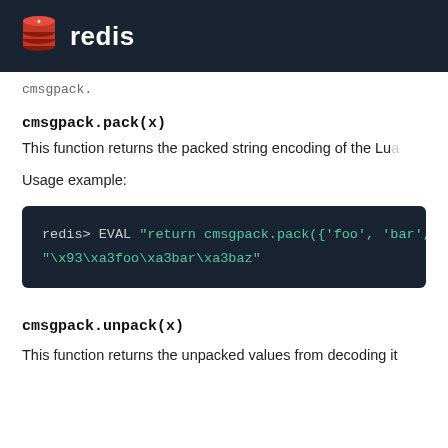redis
cmsgpack.pack(x)
This function returns the packed string encoding of the Lua
Usage example:
[Figure (screenshot): Code block showing: redis> EVAL "return cmsgpack.pack({'foo', 'bar', 'baz" and output "\x93\xa3foo\xa3bar\xa3baz"]
cmsgpack.unpack(x)
This function returns the unpacked values from decoding it